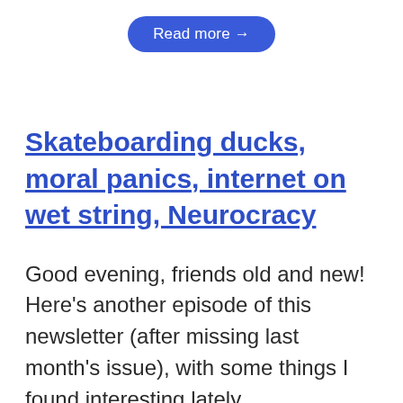Read more →
Skateboarding ducks, moral panics, internet on wet string, Neurocracy
Good evening, friends old and new! Here's another episode of this newsletter (after missing last month's issue), with some things I found interesting lately.